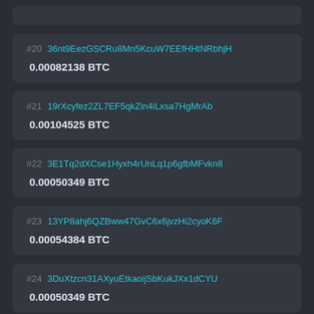#20 36nt9EezGSCRu8Mn5KcuW7EEfHHtNRbhjH — 0.00082138 BTC
#21 19rXcyfez2ZL7EF5qkZin4iLxsa7HgMrAb — 0.00104525 BTC
#22 3E1Tq2dXCse1Hyxh4rUnLq1p6gfbMFvkn8 — 0.00050349 BTC
#23 13YP8ahj6QZBww47GvC6x6jvzHi2cyoK6F — 0.00054384 BTC
#24 3DuXtzcn31AXyuEtkaoijSbKukJXx1dCYU — 0.00050349 BTC